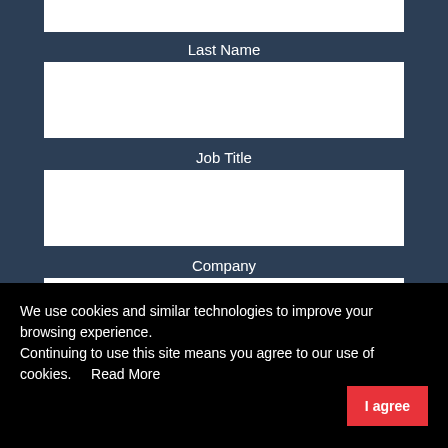Last Name
Job Title
Company
Department
We use cookies and similar technologies to improve your browsing experience. Continuing to use this site means you agree to our use of cookies. Read More I agree